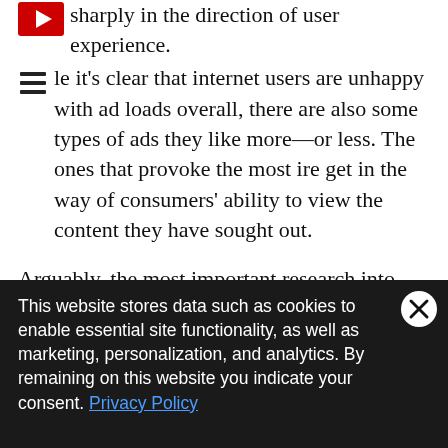sharply in the direction of user experience.
le it's clear that internet users are unhappy with ad loads overall, there are also some types of ads they like more—or less. The ones that provoke the most ire get in the way of consumers' ability to view the content they have sought out.
Arguably, the most important research into consumer attitudes toward specific types of advertising is a few years old—published in 2017 by the Coalition for Better Ads as part of an effort to develop the Better Ads Standard that Google's Chrome would ultimately
This website stores data such as cookies to enable essential site functionality, as well as marketing, personalization, and analytics. By remaining on this website you indicate your consent. Privacy Policy